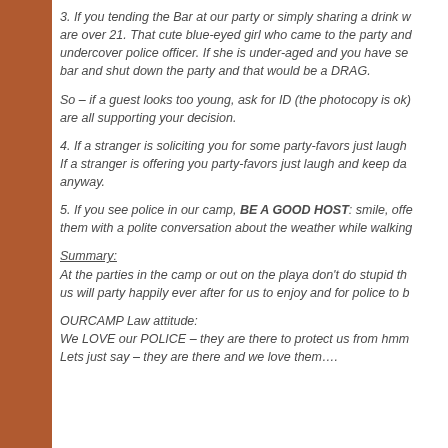3. If you tending the Bar at our party or simply sharing a drink w... are over 21. That cute blue-eyed girl who came to the party and... undercover police officer. If she is under-aged and you have se... bar and shut down the party and that would be a DRAG.
So – if a guest looks too young, ask for ID (the photocopy is ok)... are all supporting your decision.
4. If a stranger is soliciting you for some party-favors just laugh... If a stranger is offering you party-favors just laugh and keep da... anyway.
5. If you see police in our camp, BE A GOOD HOST: smile, offe... them with a polite conversation about the weather while walking...
Summary:
At the parties in the camp or out on the playa don't do stupid th... us will party happily ever after for us to enjoy and for police to b...
OURCAMP Law attitude:
We LOVE our POLICE – they are there to protect us from hmm...
Lets just say – they are there and we love them….